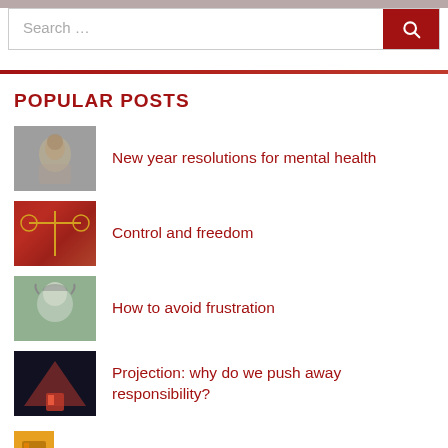Search …
POPULAR POSTS
New year resolutions for mental health
Control and freedom
How to avoid frustration
Projection: why do we push away responsibility?
The uncooperative mind